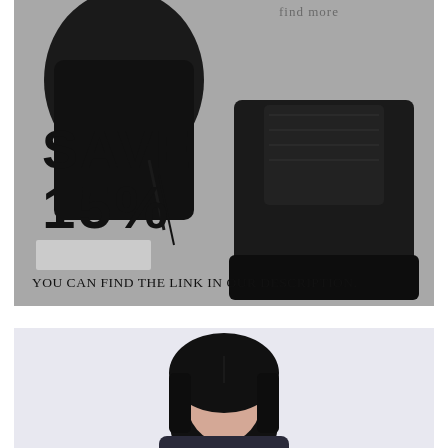[Figure (photo): Fashion promotional photo showing a person crouching wearing black platform combat boots and black outfit on a grey concrete background. Overlaid text reads 'SAVE 15%' in bold black letters and 'YOU CAN FIND THE LINK IN OUR DESCRIPTION.' at the bottom. Top right has faint text 'find more'.]
[Figure (photo): Second fashion photo showing a person with dark hair against a light lavender/white background, partially cropped showing head and shoulders.]